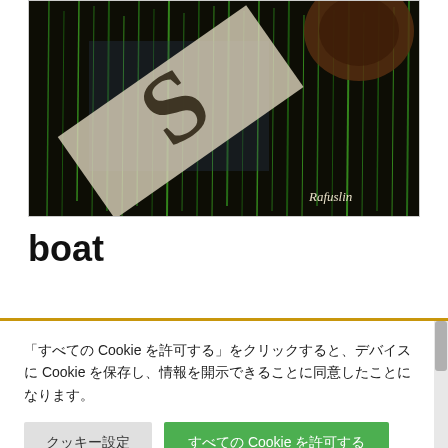[Figure (photo): Dark artwork showing forest/rain-like vertical green streaks with a light-colored diagonal banner overlay showing 'S' letter, and artist signature 'Rafuslin' in lower right corner.]
boat
「すべての Cookie を許可する」をクリックすると、デバイスに Cookie を保存し、情報を開示できることに同意したことになります。
クッキー設定　すべての Cookie を許可する